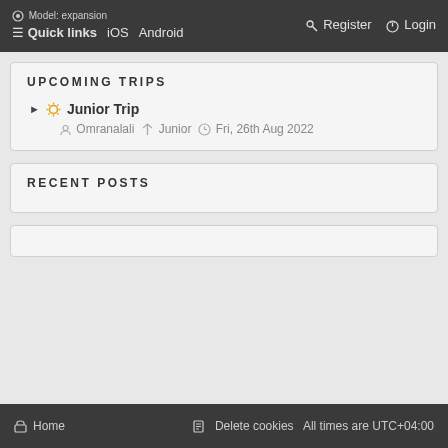Model: expansion  Quick links  iOS  Android  Register  Login
UPCOMING TRIPS
Junior Trip — Omranalali  Junior  Fri, 26th Aug 2022
RECENT POSTS
Home  Delete cookies  All times are UTC+04:00